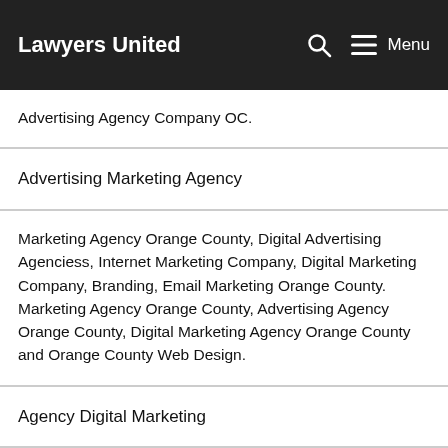Lawyers United Menu
Advertising Agency Company OC.
Advertising Marketing Agency
Marketing Agency Orange County, Digital Advertising Agenciess, Internet Marketing Company, Digital Marketing Company, Branding, Email Marketing Orange County. Marketing Agency Orange County, Advertising Agency Orange County, Digital Marketing Agency Orange County and Orange County Web Design.
Agency Digital Marketing
The best digital marketing agency in Los Angeles, CA to provide marketing services and